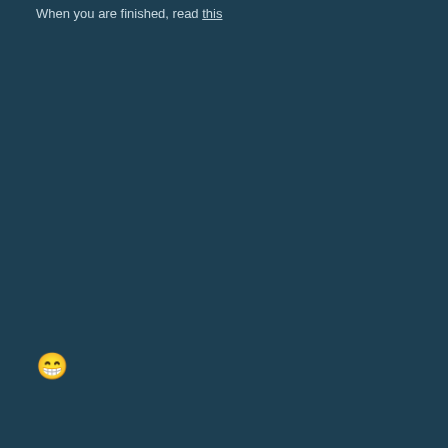When you are finished, read this
[Figure (illustration): Grinning emoji / smiley face icon]
+ Quote
TRohr
Posted February 20, 2008
Making your bassline thump
Creating bass with FM